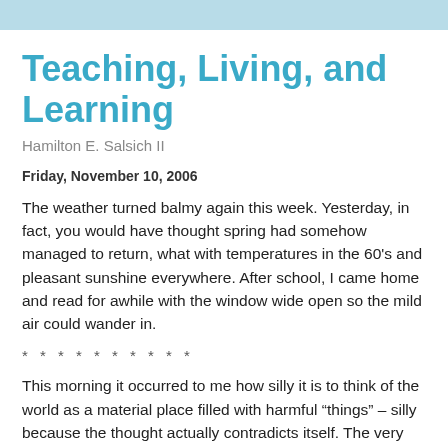Teaching, Living, and Learning
Hamilton E. Salsich II
Friday, November 10, 2006
The weather turned balmy again this week. Yesterday, in fact, you would have thought spring had somehow managed to return, what with temperatures in the 60's and pleasant sunshine everywhere. After school, I came home and read for awhile with the window wide open so the mild air could wander in.
* * * * * * * * * *
This morning it occurred to me how silly it is to think of the world as a material place filled with harmful “things” – silly because the thought actually contradicts itself. The very fact that I’m thinking is that the world is made of more than things.